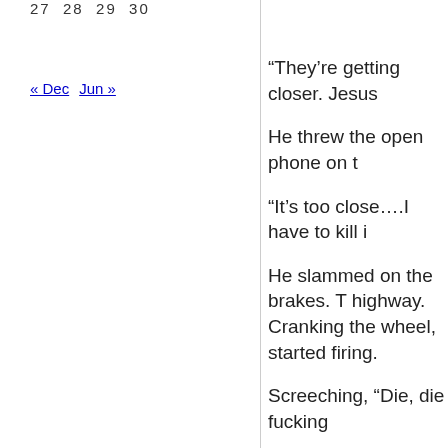27  28  29  30
« Dec   Jun »
“They’re getting closer. Jesus
He threw the open phone on t
“It’s too close….I have to kill i
He slammed on the brakes. T highway. Cranking the wheel, started firing.
Screeching, “Die, die fucking
The Peterbilt bore down on h into the grill, steam starting t Crown Vic with a huge bang.
Broadspire’s final scream was it and Broadspire into a tangl pavement. The gas tank rupt